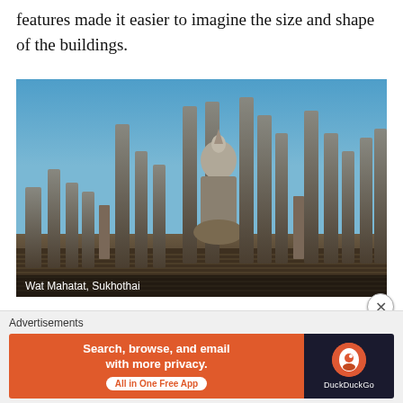features made it easier to imagine the size and shape of the buildings.
[Figure (photo): Photograph of Wat Mahatat, Sukhothai — a large seated Buddha statue surrounded by numerous ancient stone column ruins under a clear blue sky, with a low stone wall in the foreground.]
Wat Mahatat, Sukhothai
Advertisements
[Figure (other): DuckDuckGo advertisement banner: 'Search, browse, and email with more privacy. All in One Free App' with DuckDuckGo logo on dark background.]